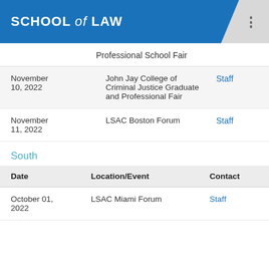SCHOOL of LAW
Professional School Fair
| Date | Location/Event | Contact |
| --- | --- | --- |
| November 10, 2022 | John Jay College of Criminal Justice Graduate and Professional Fair | Staff |
| November 11, 2022 | LSAC Boston Forum | Staff |
South
| Date | Location/Event | Contact |
| --- | --- | --- |
| October 01, 2022 | LSAC Miami Forum | Staff |